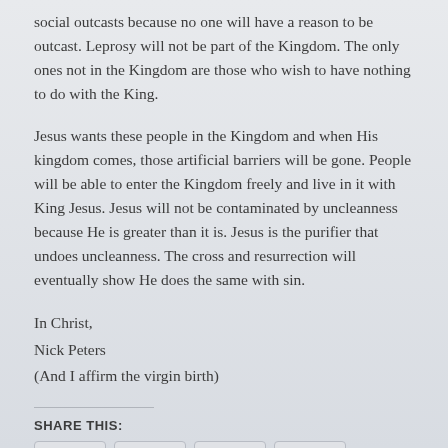social outcasts because no one will have a reason to be outcast. Leprosy will not be part of the Kingdom. The only ones not in the Kingdom are those who wish to have nothing to do with the King.
Jesus wants these people in the Kingdom and when His kingdom comes, those artificial barriers will be gone. People will be able to enter the Kingdom freely and live in it with King Jesus. Jesus will not be contaminated by uncleanness because He is greater than it is. Jesus is the purifier that undoes uncleanness. The cross and resurrection will eventually show He does the same with sin.
In Christ,
Nick Peters
(And I affirm the virgin birth)
SHARE THIS: